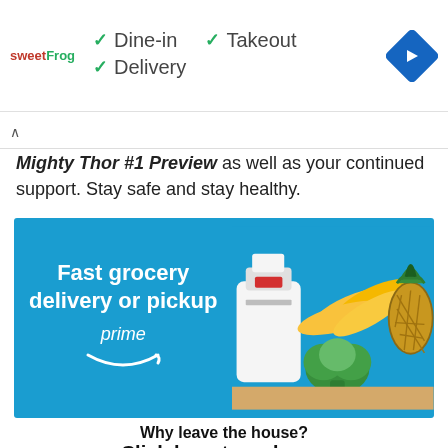[Figure (screenshot): Advertising banner for sweetFrog with dine-in, takeout, delivery options and a blue navigation diamond icon]
Mighty Thor #1 Preview as well as your continued support. Stay safe and stay healthy.
[Figure (infographic): Amazon Prime grocery delivery or pickup advertisement showing blue panel with text 'Fast grocery delivery or pickup prime' with Amazon smile logo, and photo of grocery items including milk, bananas, broccoli, and pineapple]
Why leave the house? Click here to order on amazon